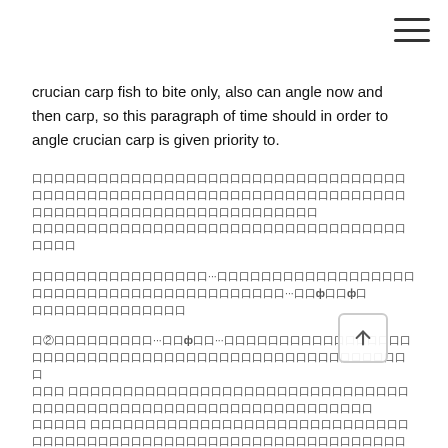crucian carp fish to bite only, also can angle now and then carp, so this paragraph of time should in order to angle crucian carp is given priority to.
[CJK text block 1 - two lines of Chinese/Japanese characters]
[CJK text block 2 with special characters - two lines]
[CJK text block 3 with ② marker and special characters - four lines]
[CJK text block 4 - partial line at bottom]